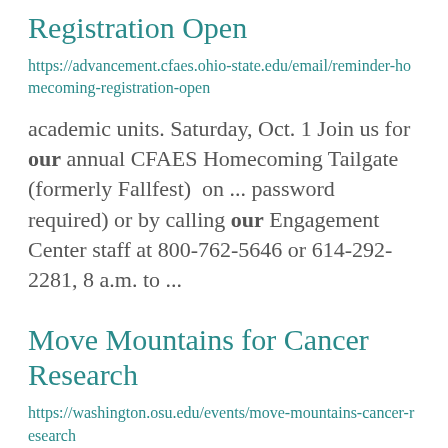Registration Open
https://advancement.cfaes.ohio-state.edu/email/reminder-homecoming-registration-open
academic units. Saturday, Oct. 1 Join us for our annual CFAES Homecoming Tailgate (formerly Fallfest)  on ... password required) or by calling our Engagement Center staff at 800-762-5646 or 614-292-2281, 8 a.m. to ...
Move Mountains for Cancer Research
https://washington.osu.edu/events/move-mountains-cancer-research
Virtual 5K for Cancer Research October 1-